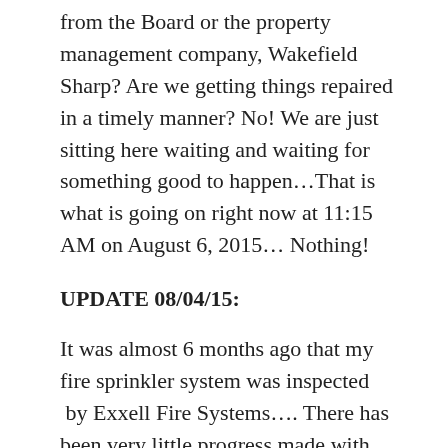from the Board or the property management company, Wakefield Sharp? Are we getting things repaired in a timely manner? No! We are just sitting here waiting and waiting for something good to happen…That is what is going on right now at 11:15 AM on August 6, 2015… Nothing!
UPDATE 08/04/15:
It was almost 6 months ago that my fire sprinkler system was inspected  by Exxell Fire Systems…. There has been very little progress made with the corrections… I checked in with Nate at Exxell Fire Systems today to see what was going, on if anything…He said he is not aware of what was going on either. He sent them (Wakefield Sharp) that SAME question one week ago and they never responded… He is following up now with another